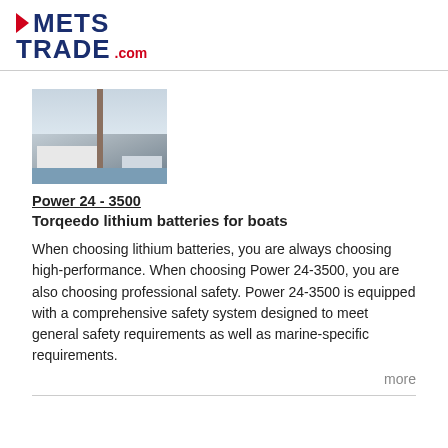METSTRADE .com
[Figure (photo): Photo of boats/sailboats in a marina with a wooden pillar/post in the foreground]
Power 24 - 3500
Torqeedo lithium batteries for boats
When choosing lithium batteries, you are always choosing high-performance. When choosing Power 24-3500, you are also choosing professional safety. Power 24-3500 is equipped with a comprehensive safety system designed to meet general safety requirements as well as marine-specific requirements.
more